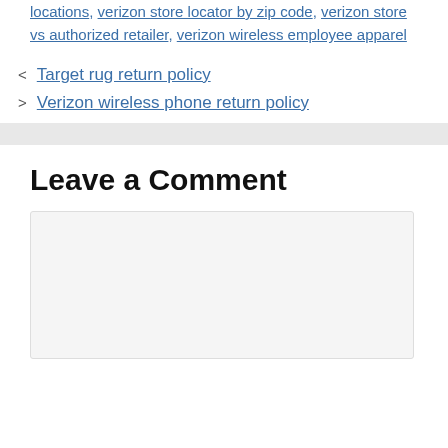locations, verizon store locator by zip code, verizon store vs authorized retailer, verizon wireless employee apparel
< Target rug return policy
> Verizon wireless phone return policy
Leave a Comment